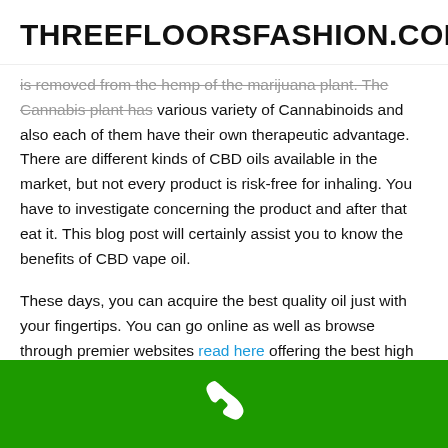THREEFLOORSFASHION.COM
is removed from the hemp of the marijuana plant. The Cannabis plant has various variety of Cannabinoids and also each of them have their own therapeutic advantage. There are different kinds of CBD oils available in the market, but not every product is risk-free for inhaling. You have to investigate concerning the product and after that eat it. This blog post will certainly assist you to know the benefits of CBD vape oil.
These days, you can acquire the best quality oil just with your fingertips. You can go online as well as browse through premier websites read here offering the best high quality CBD oil. You can additionally review their client reviews to obtain a suggestion about the high quality of the CBD items.
If go Here you are seeking leading high quality cbd discomfort alleviation cream after that you should go to the website of simply CBD shop. You can get your favorite CBD items like CBD gummies, oil tinctures and also vape juices. You can make use of fantastic discounts and bargains on the items. You can acquire items in masse as well as stock your favored items. You can
[Figure (other): Green footer bar with white phone/call icon in the center]